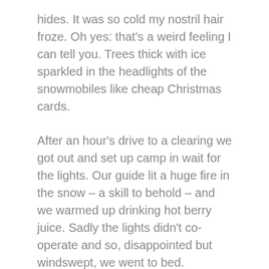hides. It was so cold my nostril hair froze. Oh yes: that's a weird feeling I can tell you. Trees thick with ice sparkled in the headlights of the snowmobiles like cheap Christmas cards.
After an hour's drive to a clearing we got out and set up camp in wait for the lights. Our guide lit a huge fire in the snow – a skill to behold – and we warmed up drinking hot berry juice. Sadly the lights didn't co-operate and so, disappointed but windswept, we went to bed.
You can't come to Lapland and not go in a sleigh drawn by reindeer; I mean it wouldn't be polite... Once again the convoy of snowmobiles took us out to the reindeer farm where the creatures were waiting to give us a ride. Our guide Jani was the size